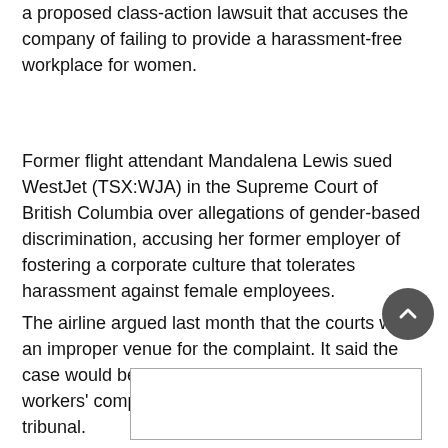a proposed class-action lawsuit that accuses the company of failing to provide a harassment-free workplace for women.
Former flight attendant Mandalena Lewis sued WestJet (TSX:WJA) in the Supreme Court of British Columbia over allegations of gender-based discrimination, accusing her former employer of fostering a corporate culture that tolerates harassment against female employees.
The airline argued last month that the courts were an improper venue for the complaint. It said the case would be better addressed through a workers' compensation board or human rights tribunal.